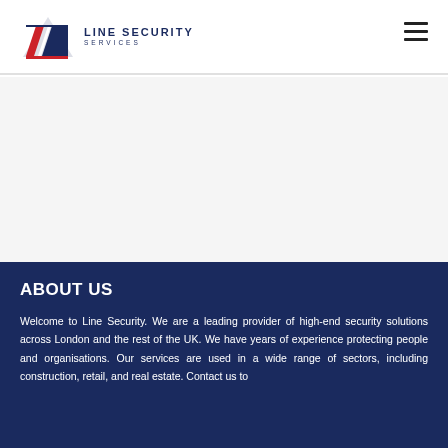Line Security Services — navigation header with logo and hamburger menu
[Figure (logo): Line Security Services logo: angular geometric 'LS' monogram in red, white and dark navy blue, with text 'LINE SECURITY' and 'SERVICES' to the right]
[Figure (other): Hero/banner image area — light gray placeholder region]
ABOUT US
Welcome to Line Security. We are a leading provider of high-end security solutions across London and the rest of the UK. We have years of experience protecting people and organisations. Our services are used in a wide range of sectors, including construction, retail, and real estate. Contact us to